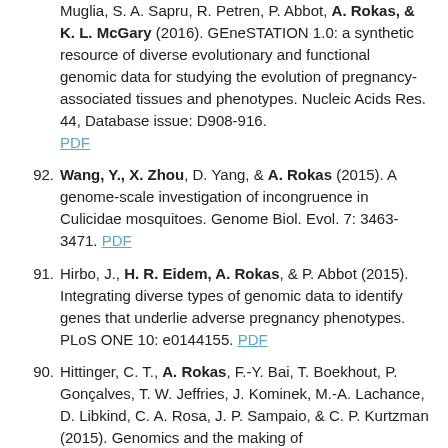Muglia, S. A. Sapru, R. Petren, P. Abbot, A. Rokas, & K. L. McGary (2016). GEneSTATION 1.0: a synthetic resource of diverse evolutionary and functional genomic data for studying the evolution of pregnancy-associated tissues and phenotypes. Nucleic Acids Res. 44, Database issue: D908-916. PDF
92. Wang, Y., X. Zhou, D. Yang, & A. Rokas (2015). A genome-scale investigation of incongruence in Culicidae mosquitoes. Genome Biol. Evol. 7: 3463-3471. PDF
91. Hirbo, J., H. R. Eidem, A. Rokas, & P. Abbot (2015). Integrating diverse types of genomic data to identify genes that underlie adverse pregnancy phenotypes. PLoS ONE 10: e0144155. PDF
90. Hittinger, C. T., A. Rokas, F.-Y. Bai, T. Boekhout, P. Gonçalves, T. W. Jeffries, J. Kominek, M.-A. Lachance, D. Libkind, C. A. Rosa, J. P. Sampaio, & C. P. Kurtzman (2015). Genomics and the making of